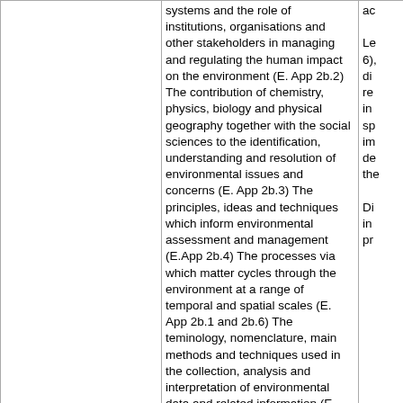|  | systems and the role of institutions, organisations and other stakeholders in managing and regulating the human impact on the environment (E. App 2b.2)
The contribution of chemistry, physics, biology and physical geography together with the social sciences to the identification, understanding and resolution of environmental issues and concerns (E. App 2b.3)
The principles, ideas and techniques which inform environmental assessment and management (E.App 2b.4)
The processes via which matter cycles through the environment at a range of temporal and spatial scales (E. App 2b.1 and 2b.6)
The teminology, nomenclature, main methods and techniques used in the collection, analysis and interpretation of environmental data and related information (E App 2b.6)
Major environmental issues, their causes and consequences and options for remediation (E App 2b.7) | ac...

Le...
6),...
di...
re...
in...
sp...
im...
de...
th...

Di...
in...
pr... |